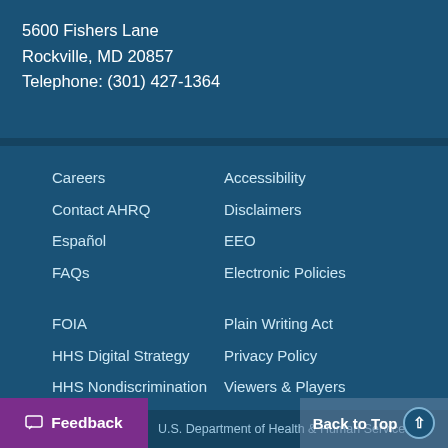5600 Fishers Lane
Rockville, MD 20857
Telephone: (301) 427-1364
Careers
Contact AHRQ
Español
FAQs
FOIA
HHS Digital Strategy
HHS Nondiscrimination Notice
Inspector General
Accessibility
Disclaimers
EEO
Electronic Policies
Plain Writing Act
Privacy Policy
Viewers & Players
U.S. Department of Health & Human Services